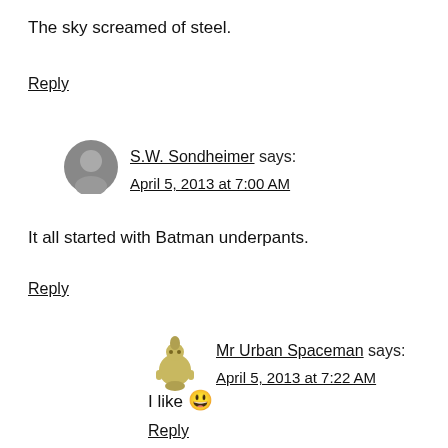The sky screamed of steel.
Reply
S.W. Sondheimer says: April 5, 2013 at 7:00 AM
It all started with Batman underpants.
Reply
Mr Urban Spaceman says: April 5, 2013 at 7:22 AM
I like 😀
Reply
S.W. Sondheimer says: